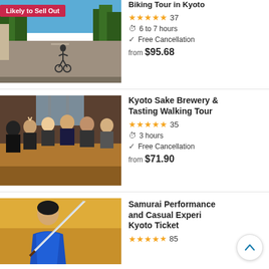[Figure (photo): Outdoor cycling path with trees, a cyclist on a wide gravel road under blue sky. Badge: Likely to Sell Out]
Biking Tour in Kyoto
★★★★★ 37
6 to 7 hours
Free Cancellation
from $95.68
[Figure (photo): Group of people sitting around a long table with sake glasses at a brewery tasting event]
Kyoto Sake Brewery & Tasting Walking Tour
★★★★★ 35
3 hours
Free Cancellation
from $71.90
[Figure (photo): Person in blue outfit holding a samurai sword, gold/warm background]
Samurai Performance and Casual Experience Kyoto Ticket
★★★★½ 85